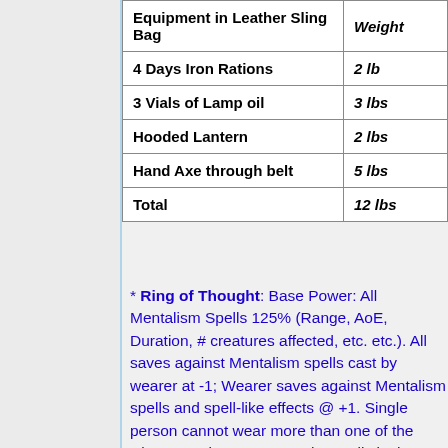| Equipment in Leather Sling Bag | Weight |
| --- | --- |
| 4 Days Iron Rations | 2 lb |
| 3 Vials of Lamp oil | 3 lbs |
| Hooded Lantern | 2 lbs |
| Hand Axe through belt | 5 lbs |
| Total | 12 lbs |
* Ring of Thought: Base Power: All Mentalism Spells 125% (Range, AoE, Duration, # creatures affected, etc. etc.). All saves against Mentalism spells cast by wearer at -1; Wearer saves against Mentalism spells and spell-like effects @ +1. Single person cannot wear more than one of the Rings at a time. Here are the spells in the Mentalism List: Charm Person-1st, Hypnotism-1st, Spook-1st,